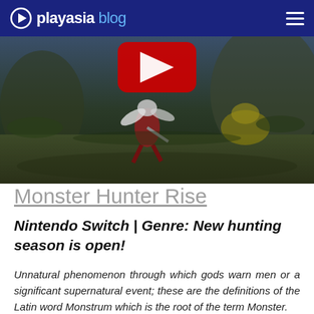playasia blog
[Figure (screenshot): Video game screenshot of Monster Hunter Rise showing a character in action combat with a dark outdoor environment, with a YouTube-style red play button overlay at the top center]
Monster Hunter Rise
Nintendo Switch | Genre: New hunting season is open!
Unnatural phenomenon through which gods warn men or a significant supernatural event; these are the definitions of the Latin word Monstrum which is the root of the term Monster.
According to the Greek philosopher Aristotle; a monster is a being that is contrary to the ordinary process of nature, but not contrary to nature in the absolute sense. For example